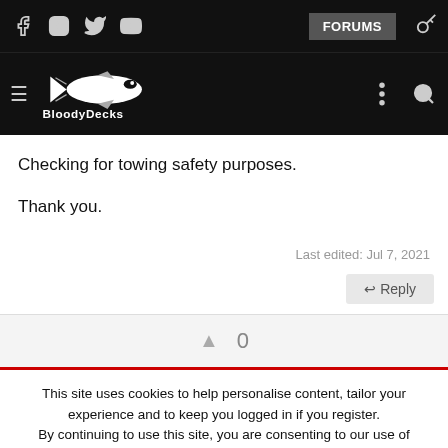BloodyDecks forum header with social icons (Facebook, Instagram, Twitter, YouTube), FORUMS button, key icon, hamburger menu, logo, dots and search icon
Checking for towing safety purposes.
Thank you.
Last edited: Jul 7, 2021
↩ Reply
0
This site uses cookies to help personalise content, tailor your experience and to keep you logged in if you register.
By continuing to use this site, you are consenting to our use of cookies.
ACCEPT
LEARN MORE...